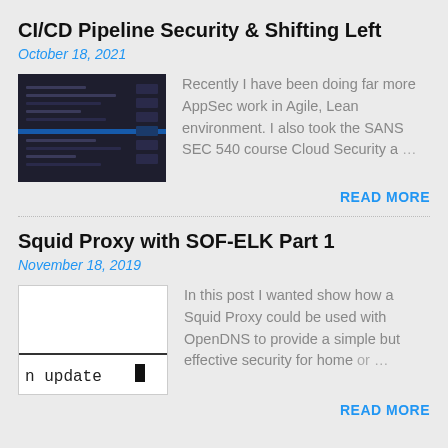CI/CD Pipeline Security & Shifting Left
October 18, 2021
[Figure (screenshot): Dark terminal/code editor screenshot with a blue horizontal line visible]
Recently I have been doing far more AppSec work in Agile, Lean environment. I also took the SANS SEC 540 course Cloud Security a…
READ MORE
Squid Proxy with SOF-ELK Part 1
November 18, 2019
[Figure (screenshot): White background with text showing 'n update' and a black cursor block]
In this post I wanted show how a Squid Proxy could be used with OpenDNS to provide a simple but effective security for home or…
READ MORE